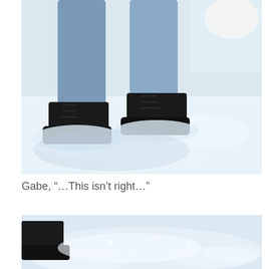[Figure (photo): Close-up photo of a person's legs in blue jeans and black boots standing in deep white snow.]
Gabe, “…This isn’t right…”
[Figure (photo): Partial photo showing black boots partially submerged in fresh white snow, close-up view.]